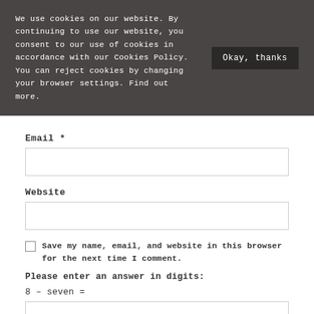We use cookies on our website. By continuing to use our website, you consent to our use of cookies in accordance with our Cookies Policy. You can reject cookies by changing your browser settings. Find out more.
Okay, thanks
Email *
Website
Save my name, email, and website in this browser for the next time I comment.
Please enter an answer in digits:
8 – seven =